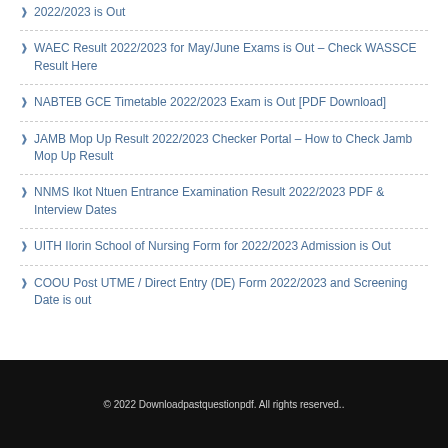2022/2023 is Out
WAEC Result 2022/2023 for May/June Exams is Out – Check WASSCE Result Here
NABTEB GCE Timetable 2022/2023 Exam is Out [PDF Download]
JAMB Mop Up Result 2022/2023 Checker Portal – How to Check Jamb Mop Up Result
NNMS Ikot Ntuen Entrance Examination Result 2022/2023 PDF & Interview Dates
UITH Ilorin School of Nursing Form for 2022/2023 Admission is Out
COOU Post UTME / Direct Entry (DE) Form 2022/2023 and Screening Date is out
© 2022 Downloadpastquestionpdf. All rights reserved..